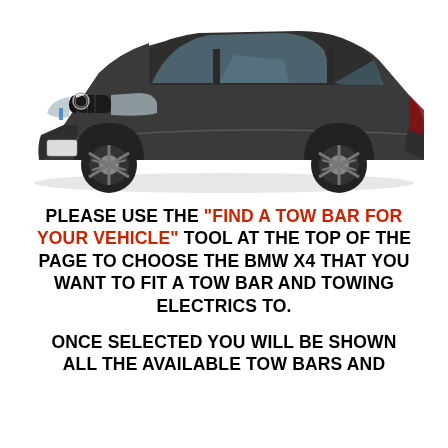[Figure (photo): Side profile photo of a dark grey/graphite BMW X4 SUV coupe on a white background with subtle shadow beneath]
PLEASE USE THE "FIND A TOW BAR FOR YOUR VEHICLE" TOOL AT THE TOP OF THE PAGE TO CHOOSE THE BMW X4 THAT YOU WANT TO FIT A TOW BAR AND TOWING ELECTRICS TO.
ONCE SELECTED YOU WILL BE SHOWN ALL THE AVAILABLE TOW BARS AND